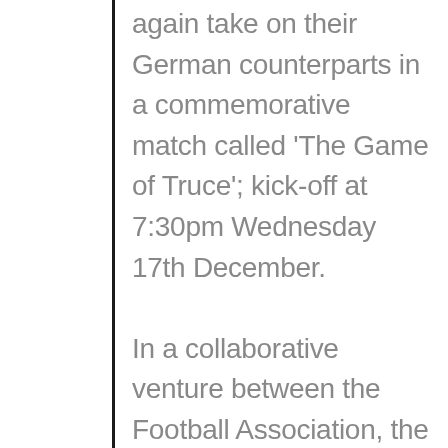again take on their German counterparts in a commemorative match called 'The Game of Truce'; kick-off at 7:30pm Wednesday 17th December. In a collaborative venture between the Football Association, the Army and Aldershot Town Football Club the game will fittingly take place in Aldershot Town FC's ES Stadium in the very heart of the 'Home of the British Army' – Aldershot. The match will be the culmination of the FA's 'Football Remembers ' in which players, staff and